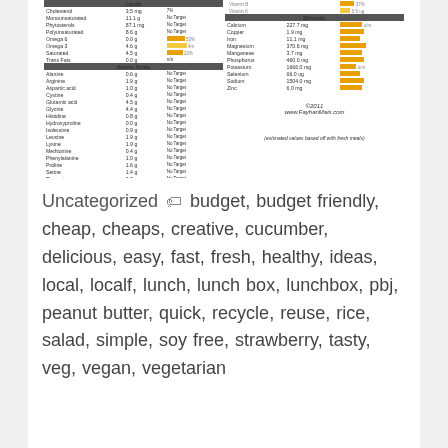[Figure (table-as-image): Nutritional information table with two columns showing lipids, amino acids, and minerals with orange/yellow bar indicators and percentage values]
Uncategorized 🏷 budget, budget friendly, cheap, cheaps, creative, cucumber, delicious, easy, fast, fresh, healthy, ideas, local, localf, lunch, lunch box, lunchbox, pbj, peanut butter, quick, recycle, reuse, rice, salad, simple, soy free, strawberry, tasty, veg, vegan, vegetarian